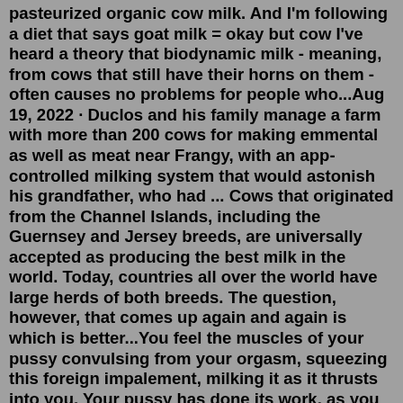pasteurized organic cow milk. And I'm following a diet that says goat milk = okay but cow I've heard a theory that biodynamic milk - meaning, from cows that still have their horns on them - often causes no problems for people who...Aug 19, 2022 · Duclos and his family manage a farm with more than 200 cows for making emmental as well as meat near Frangy, with an app-controlled milking system that would astonish his grandfather, who had ... Cows that originated from the Channel Islands, including the Guernsey and Jersey breeds, are universally accepted as producing the best milk in the world. Today, countries all over the world have large herds of both breeds. The question, however, that comes up again and again is which is better...You feel the muscles of your pussy convulsing from your orgasm, squeezing this foreign impalement, milking it as it thrusts into you. Your pussy has done its work, as you feel the ejaculations of even more sperm into your body... This cock is withdrawn from your body, and now you feel so empty... You desire to be filled again. Sometimes